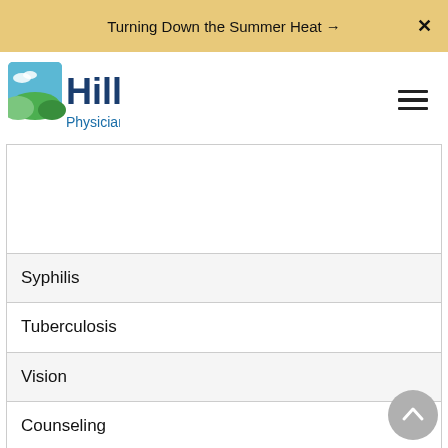Turning Down the Summer Heat →
[Figure (logo): Hill Physicians logo with landscape icon and blue text]
Syphilis
Tuberculosis
Vision
Counseling